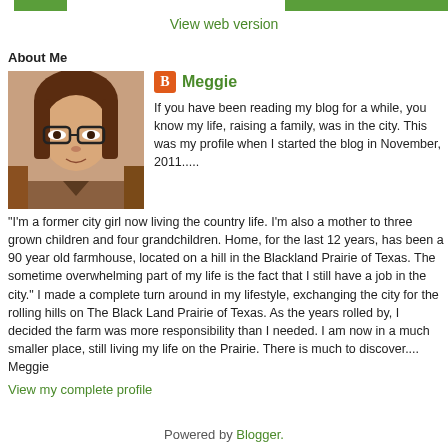View web version
About Me
[Figure (photo): Profile photo of Meggie, a woman with glasses and brown hair]
Meggie
If you have been reading my blog for a while, you know my life, raising a family, was in the city. This was my profile when I started the blog in November, 2011..... "I'm a former city girl now living the country life. I'm also a mother to three grown children and four grandchildren. Home, for the last 12 years, has been a 90 year old farmhouse, located on a hill in the Blackland Prairie of Texas. The sometime overwhelming part of my life is the fact that I still have a job in the city." I made a complete turn around in my lifestyle, exchanging the city for the rolling hills on The Black Land Prairie of Texas. As the years rolled by, I decided the farm was more responsibility than I needed. I am now in a much smaller place, still living my life on the Prairie. There is much to discover.... Meggie
View my complete profile
Powered by Blogger.